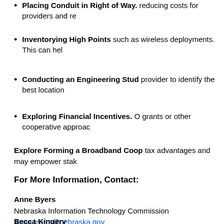Placing Conduit in Right of Way. reducing costs for providers and re
Inventorying High Points such as wireless deployments. This can hel
Conducting an Engineering Stud provider to identify the best location
Exploring Financial Incentives. O grants or other cooperative approac
Explore Forming a Broadband Coop tax advantages and may empower stake
For More Information, Contact:
Anne Byers
Nebraska Information Technology Commission
Anne.byers@nebraska.gov
402-471-3805
Becca Kingery